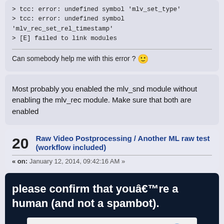> tcc: error: undefined symbol 'mlv_set_type'
> tcc: error: undefined symbol 'mlv_rec_set_rel_timestamp'
> [E] failed to link modules
Can somebody help me with this error ? 🙂
Most probably you enabled the mlv_snd module without enabling the mlv_rec module. Make sure that both are enabled
20
Raw Video Postprocessing / Another ML raw test (workflow included)
« on: January 12, 2014, 09:42:16 AM »
[Figure (screenshot): reCAPTCHA widget on dark background with text 'please confirm that you're a human (and not a spambot).' and an 'I'm not a robot' checkbox widget]